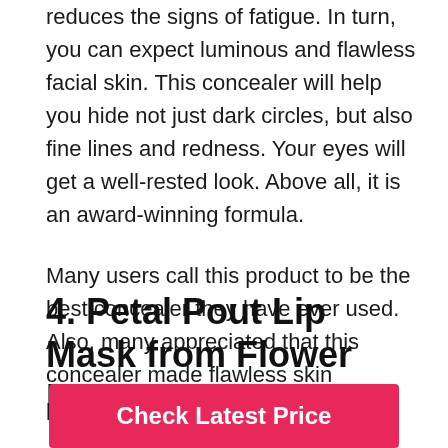reduces the signs of fatigue. In turn, you can expect luminous and flawless facial skin. This concealer will help you hide not just dark circles, but also fine lines and redness. Your eyes will get a well-rested look. Above all, it is an award-winning formula.

Many users call this product to be the best concealer they have ever used. Also, many appreciated that this concealer made flawless skin possible for them.
4. Petal Pout Lip Mask from Flower Beauty
Check Latest Price